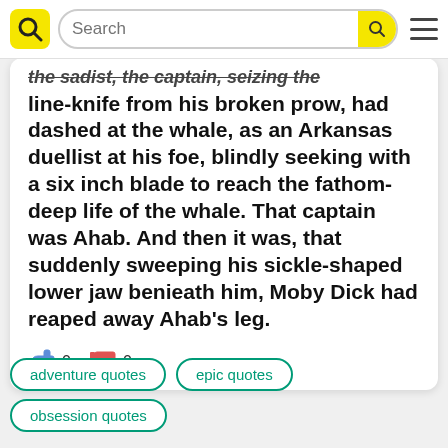[Figure (screenshot): Website navigation bar with yellow logo, search bar, and hamburger menu]
the sadist, the captain, seizing the line-knife from his broken prow, had dashed at the whale, as an Arkansas duellist at his foe, blindly seeking with a six inch blade to reach the fathom-deep life of the whale. That captain was Ahab. And then it was, that suddenly sweeping his sickle-shaped lower jaw benieath him, Moby Dick had reaped away Ahab's leg.
👍 0 👎 0
adventure quotes
epic quotes
obsession quotes